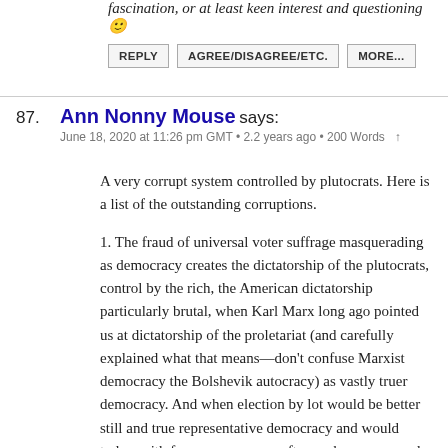fascination, or at least keen interest and questioning 🙂
REPLY   AGREE/DISAGREE/ETC.   MORE...
87. Ann Nonny Mouse says:
June 18, 2020 at 11:26 pm GMT • 2.2 years ago • 200 Words ↑
A very corrupt system controlled by plutocrats. Here is a list of the outstanding corruptions.
1. The fraud of universal voter suffrage masquerading as democracy creates the dictatorship of the plutocrats, control by the rich, the American dictatorship particularly brutal, when Karl Marx long ago pointed us at dictatorship of the proletariat (and carefully explained what that means—don't confuse Marxist democracy the Bolshevik autocracy) as vastly truer democracy. And when election by lot would be better still and true representative democracy and would today, with free open-source software, be so easy and so low-cost.
2. Intellectual property lifetimes extended extremely when